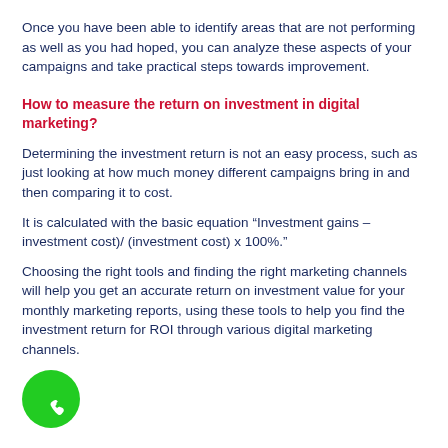Once you have been able to identify areas that are not performing as well as you had hoped, you can analyze these aspects of your campaigns and take practical steps towards improvement.
How to measure the return on investment in digital marketing?
Determining the investment return is not an easy process, such as just looking at how much money different campaigns bring in and then comparing it to cost.
It is calculated with the basic equation “Investment gains – investment cost)/ (investment cost) x 100●."
Choosing the right tools and finding the right marketing channels will help you get an accurate return on investment value for your monthly marketing reports, using these tools to help you find the investment return for ROI through various digital marketing channels.
[Figure (illustration): Green circular button with white phone handset icon]